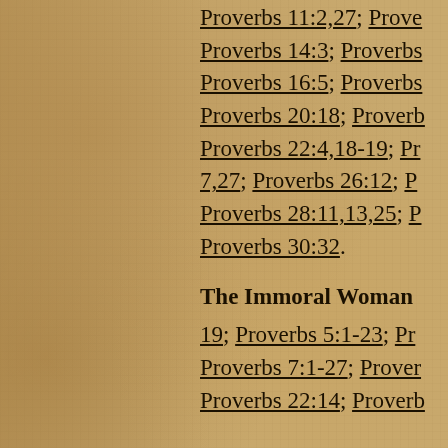Proverbs 11:2,27; Proverbs 14:3; Proverbs 16:5; Proverbs 20:18; Proverbs 22:4,18-19; Proverbs 25:7,27; Proverbs 26:12; Proverbs 28:11,13,25; Proverbs 30:32.
The Immoral Woman
19; Proverbs 5:1-23; Proverbs 7:1-27; Proverbs 22:14; Proverbs